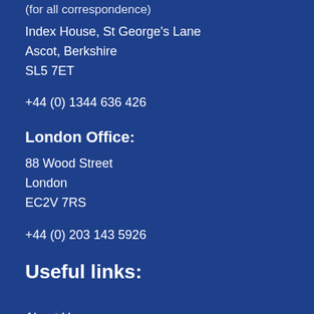(for all correspondence)
Index House, St George's Lane
Ascot, Berkshire
SL5 7ET
+44 (0) 1344 636 426
London Office:
88 Wood Street
London
EC2V 7RS
+44 (0) 203 143 5926
Useful links:
About Us
Our Specialist Market